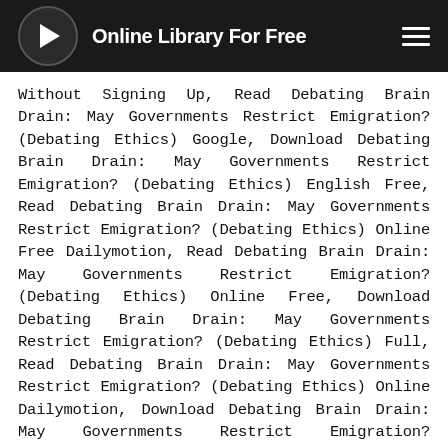Online Library For Free
Without Signing Up, Read Debating Brain Drain: May Governments Restrict Emigration? (Debating Ethics) Google, Download Debating Brain Drain: May Governments Restrict Emigration? (Debating Ethics) English Free, Read Debating Brain Drain: May Governments Restrict Emigration? (Debating Ethics) Online Free Dailymotion, Read Debating Brain Drain: May Governments Restrict Emigration? (Debating Ethics) Online Free, Download Debating Brain Drain: May Governments Restrict Emigration? (Debating Ethics) Full, Read Debating Brain Drain: May Governments Restrict Emigration? (Debating Ethics) Online Dailymotion, Download Debating Brain Drain: May Governments Restrict Emigration? (Debating Ethics) Free Online, Read Debating Brain Drain: May Governments Restrict Emigration? (Debating Ethics)